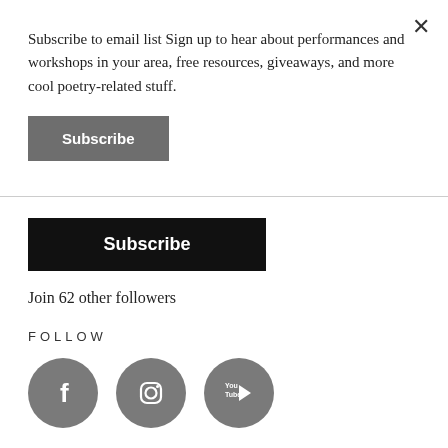× (close button)
Subscribe to email list Sign up to hear about performances and workshops in your area, free resources, giveaways, and more cool poetry-related stuff.
Subscribe
Subscribe
Join 62 other followers
FOLLOW
[Figure (other): Three social media icons: Facebook (f), Instagram (camera), YouTube (play button with 'You Tube' text), all in dark gray circles]